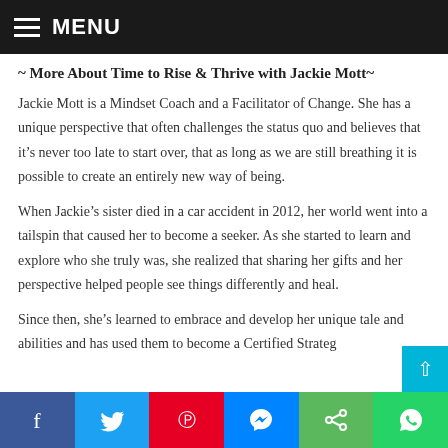MENU
~ More About Time to Rise & Thrive with Jackie Mott~
Jackie Mott is a Mindset Coach and a Facilitator of Change. She has a unique perspective that often challenges the status quo and believes that it's never too late to start over, that as long as we are still breathing it is possible to create an entirely new way of being.
When Jackie's sister died in a car accident in 2012, her world went into a tailspin that caused her to become a seeker. As she started to learn and explore who she truly was, she realized that sharing her gifts and her perspective helped people see things differently and heal.
Since then, she's learned to embrace and develop her unique tale and abilities and has used them to become a Certified Strateg